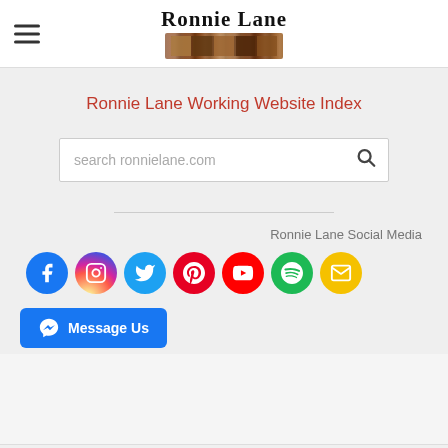Ronnie Lane
Ronnie Lane Working Website Index
[Figure (screenshot): Search box with placeholder text 'search ronnielane.com' and a search icon on the right]
[Figure (infographic): Row of 7 social media icons: Facebook (blue), Instagram (gradient), Twitter (light blue), Pinterest (red), YouTube (red), Spotify (green), Email (yellow)]
Ronnie Lane Social Media
Message Us